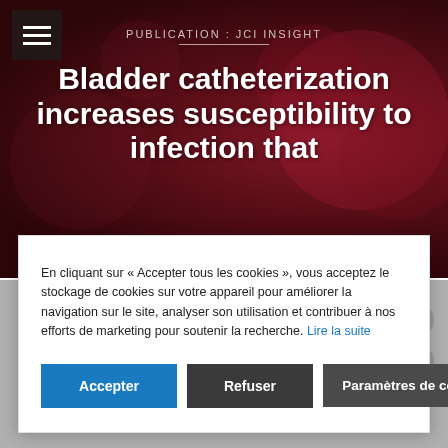PUBLICATION : JCI INSIGHT
Bladder catheterization increases susceptibility to infection that
En cliquant sur « Accepter tous les cookies », vous acceptez le stockage de cookies sur votre appareil pour améliorer la navigation sur le site, analyser son utilisation et contribuer à nos efforts de marketing pour soutenir la recherche. Lire la suite
Publié sur JCI insight - 22 Sep 2016